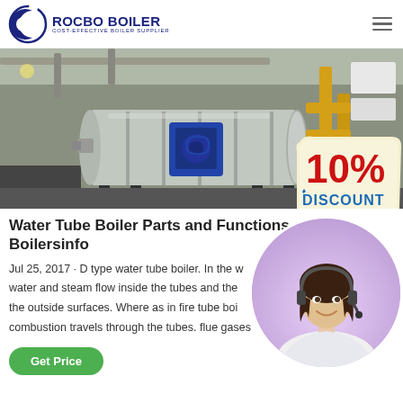[Figure (logo): Rocbo Boiler logo with crescent C icon and text ROCBO BOILER / COST-EFFECTIVE BOILER SUPPLIER]
[Figure (photo): Industrial water tube boiler in a facility showing a large cylindrical boiler with blue motor, yellow gas pipes, and white boxes. A 10% DISCOUNT badge overlays the bottom right.]
Water Tube Boiler Parts and Functions - Boilersinfo
Jul 25, 2017 · D type water tube boiler. In the water tube boiler, water and steam flow inside the tubes and the combustion occurs on the outside surfaces. Where as in fire tube boiler, the products of combustion travels through the tubes. flue gases pass...
[Figure (photo): Customer service agent woman with headset smiling, circular cropped photo with purple/pink gradient background]
Get Price